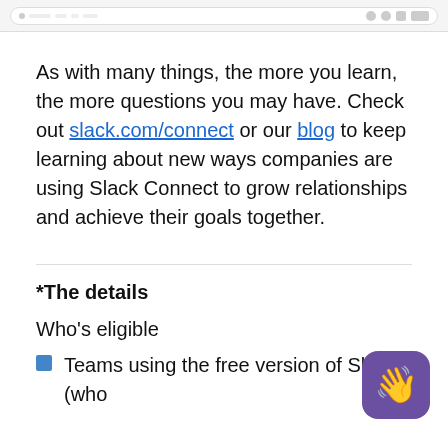[Figure (screenshot): Partial browser address bar / UI bar at the top of the page]
As with many things, the more you learn, the more questions you may have. Check out slack.com/connect or our blog to keep learning about new ways companies are using Slack Connect to grow relationships and achieve their goals together.
*The details
Who's eligible
Teams using the free version of Slack (who